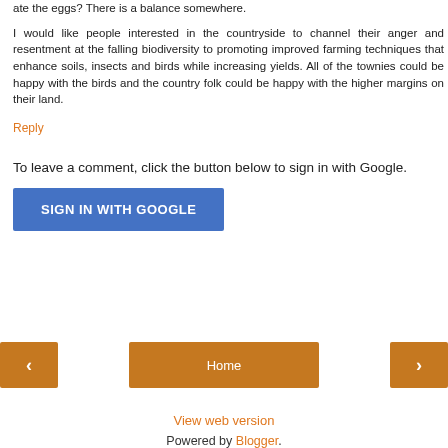ate the eggs? There is a balance somewhere.
I would like people interested in the countryside to channel their anger and resentment at the falling biodiversity to promoting improved farming techniques that enhance soils, insects and birds while increasing yields. All of the townies could be happy with the birds and the country folk could be happy with the higher margins on their land.
Reply
To leave a comment, click the button below to sign in with Google.
[Figure (other): Blue 'SIGN IN WITH GOOGLE' button]
[Figure (other): Navigation bar with left arrow button, Home button, and right arrow button]
View web version
Powered by Blogger.